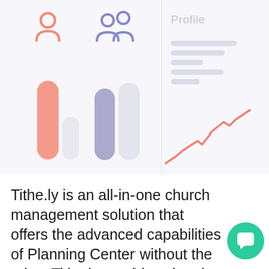[Figure (screenshot): App interface mockup showing two panels: left panel with person/group icons above bar charts (salmon and purple/grey bars), and right panel showing a Profile screen with placeholder text lines and a rising line chart in salmon color.]
Tithe.ly is an all-in-one church management solution that offers the advanced capabilities of Planning Center without the price. Tithe.ly provides church admin, pastors, worship leaders, and ministry leaders tools for